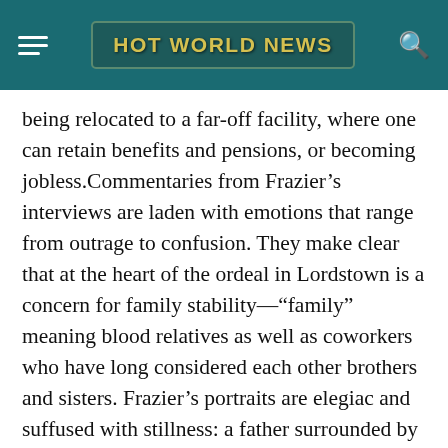HOT WORLD NEWS
being relocated to a far-off facility, where one can retain benefits and pensions, or becoming jobless.Commentaries from Frazier’s interviews are laden with emotions that range from outrage to confusion. They make clear that at the heart of the ordeal in Lordstown is a concern for family stability—“family” meaning blood relatives as well as coworkers who have long considered each other brothers and sisters. Frazier’s portraits are elegiac and suffused with stillness: a father surrounded by his wife and children in their newly built house; a teenager, fearful about moving to Tennessee, standing tall with her best friend; a tense meeting of three different generations around a kitchen table. The last image, showing the power of domestic settings for families who